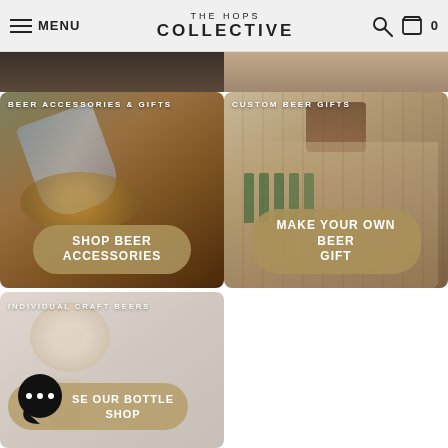MENU | THE HOPS COLLECTIVE | 0
[Figure (photo): Partial photo top left - dark background]
[Figure (photo): Partial photo top right - person with beer]
[Figure (photo): Beer accessories category card with bottle opener image]
BEER ACCESSORIES & GIFTS
SHOP BEER ACCESSORIES
[Figure (photo): Custom beer gifts card with beer carrier and green bottles]
CUSTOM BEER GIFTS
MAKE YOUR OWN BEER GIFT
[Figure (photo): Individual craft beers category card with hand and bottles]
INDIVIDUAL CRAFT BEERS
BROWSE OUR BOTTLE SHOP
[Figure (illustration): Chat bubble icon with ellipsis]